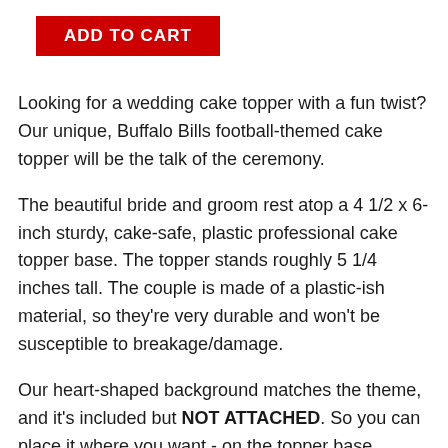ADD TO CART
Looking for a wedding cake topper with a fun twist? Our unique, Buffalo Bills football-themed cake topper will be the talk of the ceremony.
The beautiful bride and groom rest atop a 4 1/2 x 6-inch sturdy, cake-safe, plastic professional cake topper base. The topper stands roughly 5 1/4 inches tall. The couple is made of a plastic-ish material, so they're very durable and won't be susceptible to breakage/damage.
Our heart-shaped background matches the theme, and it's included but NOT ATTACHED. So you can place it where you want - on the topper base, behind or beside the topper, use it as another cake topper or centerpiece, or just save it as a memento of the day